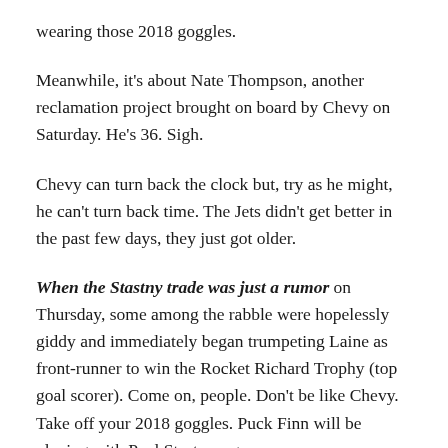wearing those 2018 goggles.
Meanwhile, it's about Nate Thompson, another reclamation project brought on board by Chevy on Saturday. He's 36. Sigh.
Chevy can turn back the clock but, try as he might, he can't turn back time. The Jets didn't get better in the past few days, they just got older.
When the Stastny trade was just a rumor on Thursday, some among the rabble were hopelessly giddy and immediately began trumpeting Laine as front-runner to win the Rocket Richard Trophy (top goal scorer). Come on, people. Don't be like Chevy. Take off your 2018 goggles. Puck Finn will be playing with Paul Stastny, age